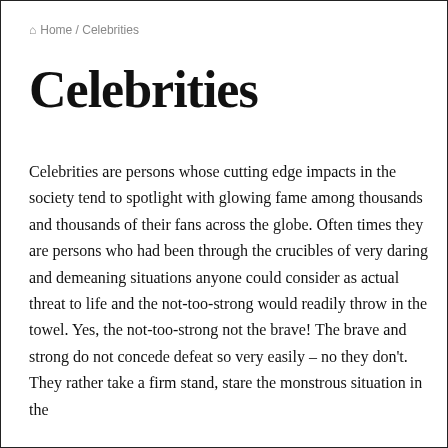Home / Celebrities
Celebrities
Celebrities are persons whose cutting edge impacts in the society tend to spotlight with glowing fame among thousands and thousands of their fans across the globe. Often times they are persons who had been through the crucibles of very daring and demeaning situations anyone could consider as actual threat to life and the not-too-strong would readily throw in the towel. Yes, the not-too-strong not the brave! The brave and strong do not concede defeat so very easily – no they don't. They rather take a firm stand, stare the monstrous situation in the